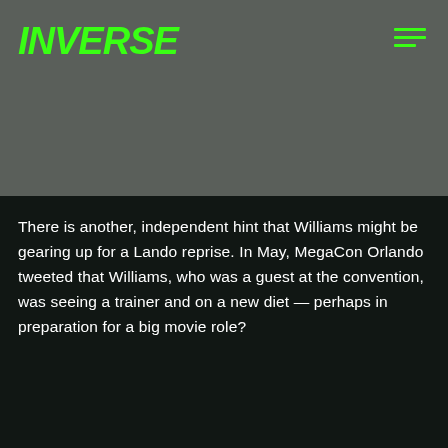INVERSE
[Figure (other): Gray placeholder image area]
There is another, independent hint that Williams might be gearing up for a Lando reprise. In May, MegaCon Orlando tweeted that Williams, who was a guest at the convention, was seeing a trainer and on a new diet — perhaps in preparation for a big movie role?